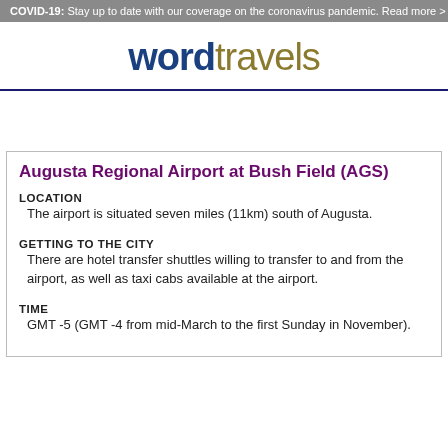COVID-19: Stay up to date with our coverage on the coronavirus pandemic. Read more >
wordtravels
Augusta Regional Airport at Bush Field (AGS)
LOCATION
The airport is situated seven miles (11km) south of Augusta.
GETTING TO THE CITY
There are hotel transfer shuttles willing to transfer to and from the airport, as well as taxi cabs available at the airport.
TIME
GMT -5 (GMT -4 from mid-March to the first Sunday in November).